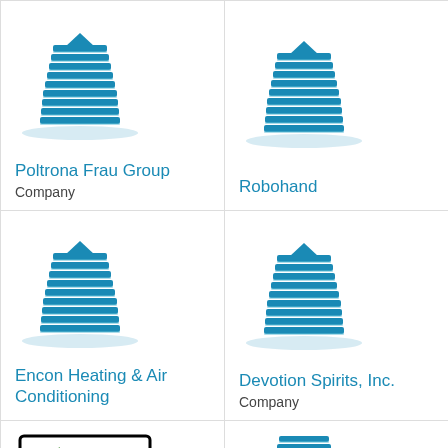[Figure (logo): Building/company icon for Poltrona Frau Group]
Poltrona Frau Group
Company
[Figure (logo): Building/company icon for Robohand]
Robohand
[Figure (logo): Building/company icon for Encon Heating & Air Conditioning]
Encon Heating & Air Conditioning
[Figure (logo): Building/company icon for Devotion Spirits, Inc.]
Devotion Spirits, Inc.
Company
[Figure (logo): Ready Pac Foods logo]
[Figure (logo): Building/company icon (partial, bottom row)]